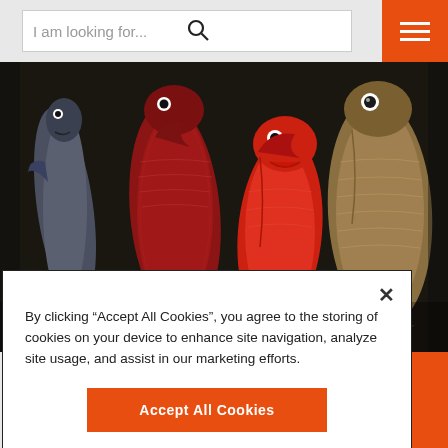[Figure (screenshot): Search bar with placeholder text 'I am looking for...' and a search icon, plus an orange hamburger menu button on the right]
[Figure (photo): Close-up photograph of multiple whole fish laid side by side, showing various species including red snapper, flounder, and other fresh market fish against a dark background]
By clicking “Accept All Cookies”, you agree to the storing of cookies on your device to enhance site navigation, analyze site usage, and assist in our marketing efforts.
Accept All Cookies
Cookies Settings